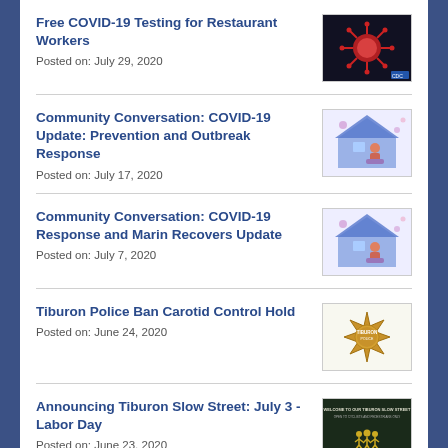Free COVID-19 Testing for Restaurant Workers
Posted on: July 29, 2020
[Figure (photo): COVID-19 coronavirus particle image on dark background]
Community Conversation: COVID-19 Update: Prevention and Outbreak Response
Posted on: July 17, 2020
[Figure (illustration): Illustration of family at home with virus particles, community stay-at-home scene]
Community Conversation: COVID-19 Response and Marin Recovers Update
Posted on: July 7, 2020
[Figure (illustration): Illustration of family at home with virus particles, community scene]
Tiburon Police Ban Carotid Control Hold
Posted on: June 24, 2020
[Figure (logo): Tiburon Police star badge logo in gold on white background]
Announcing Tiburon Slow Street: July 3 - Labor Day
Posted on: June 23, 2020
[Figure (photo): Tiburon Slow Street announcement sign with yellow figures on dark green background]